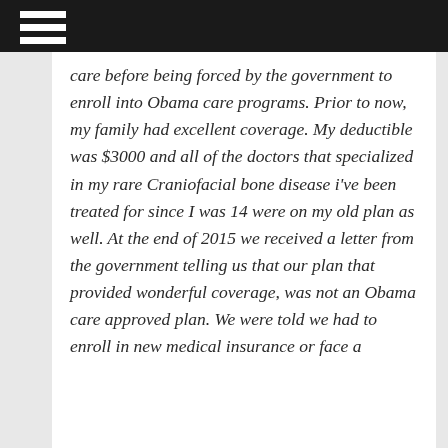care before being forced by the government to enroll into Obama care programs. Prior to now, my family had excellent coverage. My deductible was $3000 and all of the doctors that specialized in my rare Craniofacial bone disease i've been treated for since I was 14 were on my old plan as well. At the end of 2015 we received a letter from the government telling us that our plan that provided wonderful coverage, was not an Obama care approved plan. We were told we had to enroll in new medical insurance or face a